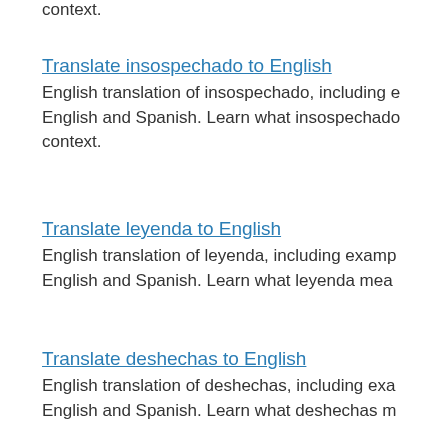context.
Translate insospechado to English
English translation of insospechado, including e... English and Spanish. Learn what insospechado... context.
Translate leyenda to English
English translation of leyenda, including examp... English and Spanish. Learn what leyenda mea...
Translate deshechas to English
English translation of deshechas, including exa... English and Spanish. Learn what deshechas m...